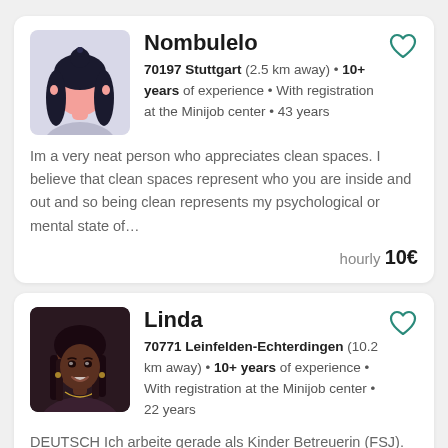[Figure (illustration): Illustrated avatar of a woman with dark hair in a bun, pink face, wearing a light purple top, on a light grey background]
Nombulelo
70197 Stuttgart (2.5 km away) • 10+ years of experience • With registration at the Minijob center • 43 years
Im a very neat person who appreciates clean spaces. I believe that clean spaces represent who you are inside and out and so being clean represents my psychological or mental state of…
hourly 10€
[Figure (photo): Photo of a smiling Black woman with braided hair, wearing jewelry, dark background]
Linda
70771 Leinfelden-Echterdingen (10.2 km away) • 10+ years of experience • With registration at the Minijob center • 22 years
DEUTSCH Ich arbeite gerade als Kinder Betreuerin (FSJ). Ich Spreche Englisch und B2 Deutsch. Ich mag es, meinen eigenen Raum sauber und mit einer frischen Atmosphäre zu…
hourly 15€